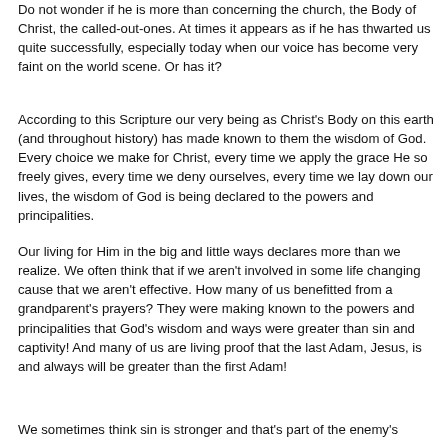Do not wonder if he is more than concerning the church, the Body of Christ, the called-out-ones.  At times it appears as if he has thwarted us quite successfully, especially today when our voice has become very faint on the world scene.  Or has it?
According to this Scripture our very being as Christ's Body on this earth (and throughout history) has made known to them the wisdom of God.  Every choice we make for Christ, every time we apply the grace He so freely gives, every time we deny ourselves, every time we lay down our lives, the wisdom of God is being declared to the powers and principalities.
Our living for Him in the big and little ways declares more than we realize.  We often think that if we aren't involved in some life changing cause that we aren't effective.  How many of us benefitted from a grandparent's prayers?  They were making known to the powers and principalities that God's wisdom and ways were greater than sin and captivity!  And many of us are living proof that the last Adam, Jesus, is and always will be greater than the first Adam!
We sometimes think sin is stronger and that's part of the enemy's